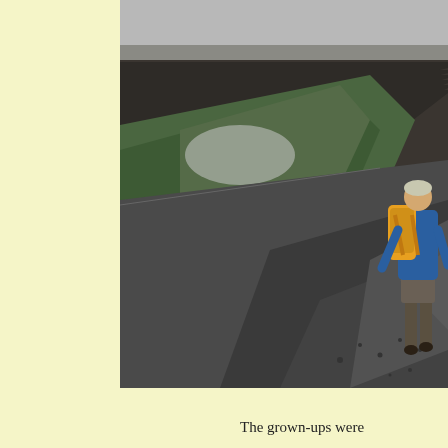[Figure (photo): A person wearing a blue jacket and backpack walking away on a wet, narrow country road flanked by a dark stone wall on the left and green grass. The sky is overcast and grey.]
The grown-ups were